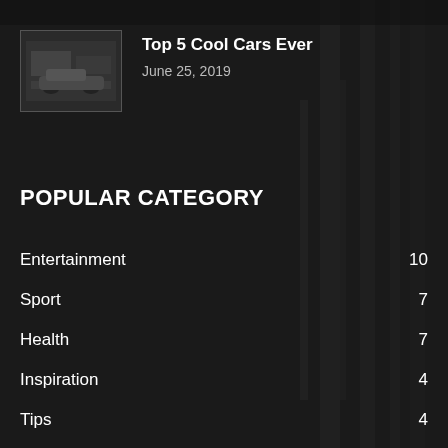[Figure (photo): Thumbnail image of cars, dark toned photo used as article preview]
Top 5 Cool Cars Ever
June 25, 2019
POPULAR CATEGORY
Entertainment   10
Sport   7
Health   7
Inspiration   4
Tips   4
Humanities & Religion   4
Tech   3
Buisness   3
Animal   2